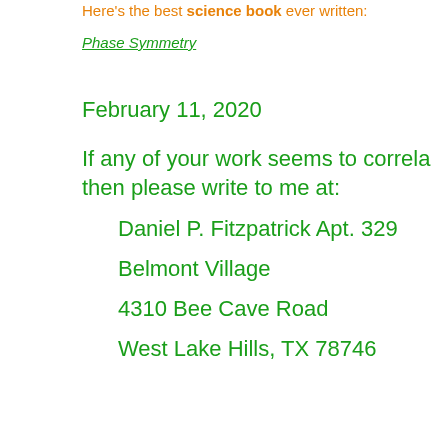Here's the best science book ever written:
Phase Symmetry
February 11, 2020
If any of your work seems to correlate, then please write to me at:
Daniel P. Fitzpatrick Apt. 329
Belmont Village
4310 Bee Cave Road
West Lake Hills, TX 78746